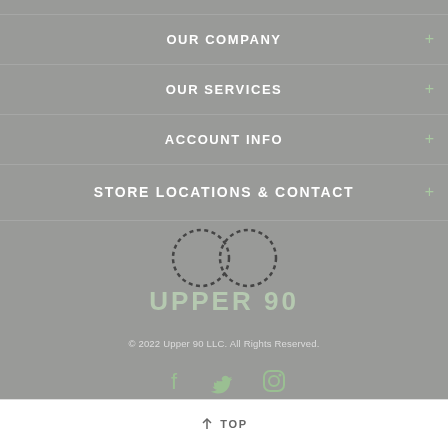OUR COMPANY
OUR SERVICES
ACCOUNT INFO
STORE LOCATIONS & CONTACT
[Figure (logo): Upper 90 logo with infinity symbol made of dotted circles above stylized text UPPER 90]
© 2022 Upper 90 LLC. All Rights Reserved.
[Figure (infographic): Social media icons: Facebook, Twitter, Instagram in green]
↑ TOP